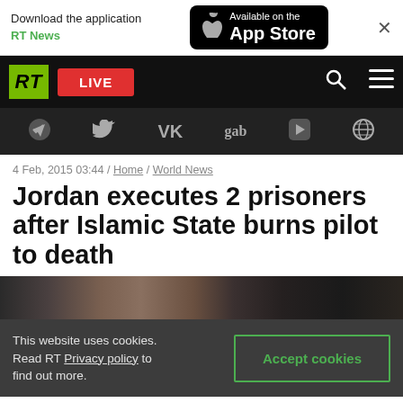[Figure (screenshot): App Store download banner with RT News branding, Available on the App Store badge, and close button]
[Figure (screenshot): RT news website navigation bar with RT logo, LIVE button, search icon, and menu icon]
[Figure (screenshot): Social media icons bar: Telegram, Twitter, VK, gab, Rumble, global icon on dark background]
4 Feb, 2015 03:44 / Home / World News
Jordan executes 2 prisoners after Islamic State burns pilot to death
[Figure (photo): Partial photo behind prison bars, dark tones]
This website uses cookies. Read RT Privacy policy to find out more.